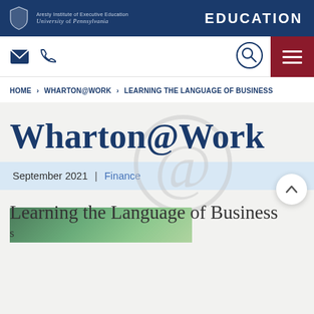Aresty Institute of Executive Education | University of Pennsylvania | EDUCATION
[Figure (screenshot): Navigation bar with envelope and phone icons, search button, and red hamburger menu button]
HOME › WHARTON@WORK › LEARNING THE LANGUAGE OF BUSINESS
Wharton@Work
September 2021 | Finance
Learning the Language of Business
s